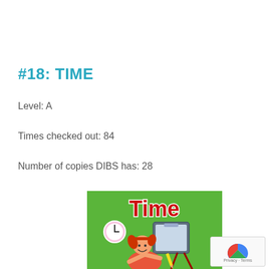#18: TIME
Level: A
Times checked out: 84
Number of copies DIBS has: 28
[Figure (photo): Book cover for 'Time' — a children's educational book with a green background, large red text reading 'Time', an illustrated girl with red pigtails holding a whiteboard, and a clock illustration.]